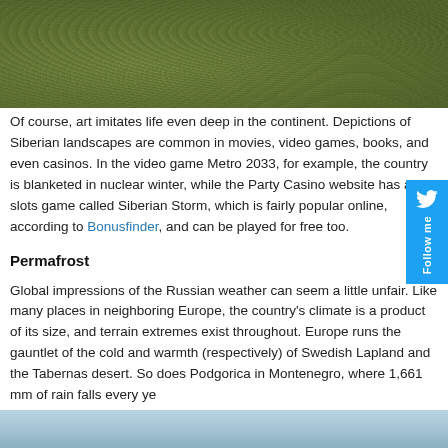[Figure (photo): Close-up photo of mossy rocks or ground covered with small round green and brown leaves or plants, filling the top portion of the page]
Of course, art imitates life even deep in the continent. Depictions of Siberian landscapes are common in movies, video games, books, and even casinos. In the video game Metro 2033, for example, the country is blanketed in nuclear winter, while the Party Casino website has a slots game called Siberian Storm, which is fairly popular online, according to Bonusfinder, and can be played for free too.
Permafrost
Global impressions of the Russian weather can seem a little unfair. Like many places in neighboring Europe, the country's climate is a product of its size, and terrain extremes exist throughout. Europe runs the gauntlet of the cold and warmth (respectively) of Swedish Lapland and the Tabernas desert. So does Podgorica in Montenegro, where 1,661 mm of rain falls every year.
[Figure (photo): Bottom portion showing the beginning of another image with a light blue/grey sky or water color]